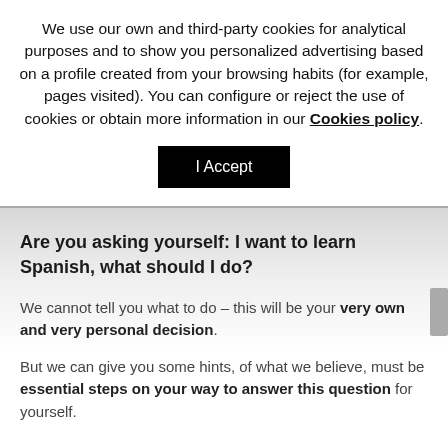We use our own and third-party cookies for analytical purposes and to show you personalized advertising based on a profile created from your browsing habits (for example, pages visited). You can configure or reject the use of cookies or obtain more information in our Cookies policy.
I Accept
Are you asking yourself: I want to learn Spanish, what should I do?
We cannot tell you what to do – this will be your very own and very personal decision.
But we can give you some hints, of what we believe, must be essential steps on your way to answer this question for yourself.